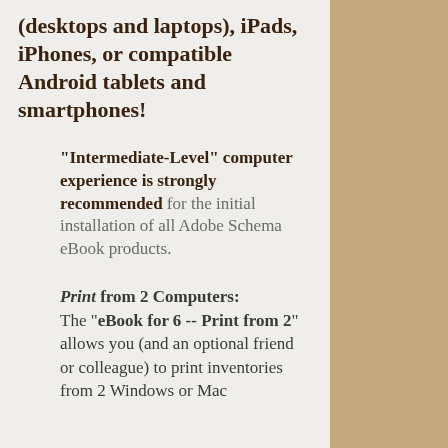(desktops and laptops), iPads, iPhones, or compatible Android tablets and smartphones!
"Intermediate-Level" computer experience is strongly recommended for the initial installation of all Adobe Schema eBook products.
Print from 2 Computers: The "eBook for 6 -- Print from 2" allows you (and an optional friend or colleague) to print inventories from 2 Windows or Mac